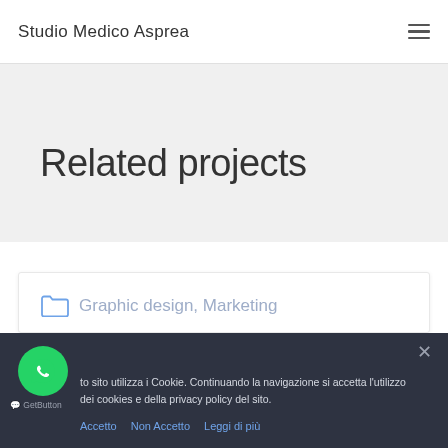Studio Medico Asprea
Related projects
Graphic design, Marketing
Modern typography
to sito utilizza i Cookie. Continuando la navigazione si accetta l'utilizzo dei cookies e della privacy policy del sito.
Accetto   Non Accetto   Leggi di più